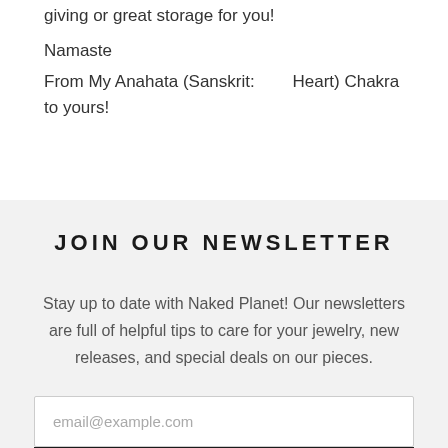giving or great storage for you!
Namaste
From My Anahata (Sanskrit:        Heart) Chakra to yours!
JOIN OUR NEWSLETTER
Stay up to date with Naked Planet! Our newsletters are full of helpful tips to care for your jewelry, new releases, and special deals on our pieces.
email@example.com
SUBSCRIBE >